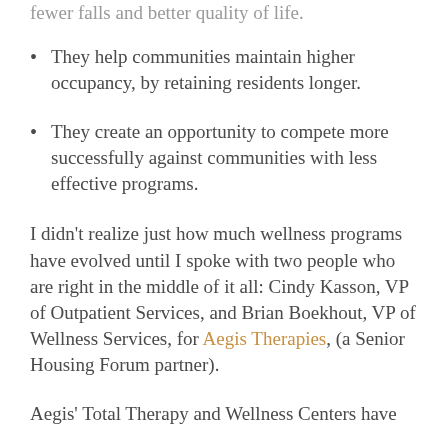They help communities maintain higher occupancy, by retaining residents longer.
They create an opportunity to compete more successfully against communities with less effective programs.
I didn’t realize just how much wellness programs have evolved until I spoke with two people who are right in the middle of it all: Cindy Kasson, VP of Outpatient Services, and Brian Boekhout, VP of Wellness Services, for Aegis Therapies, (a Senior Housing Forum partner).
Aegis’ Total Therapy and Wellness Centers have